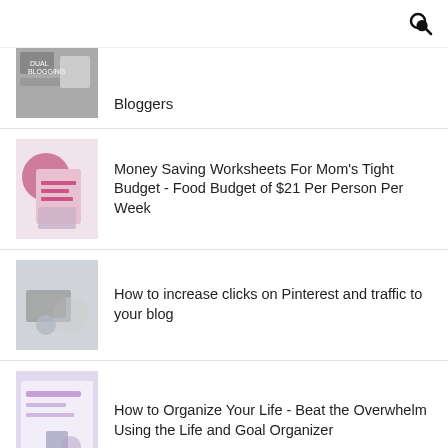Bloggers
Money Saving Worksheets For Mom's Tight Budget - Food Budget of $21 Per Person Per Week
How to increase clicks on Pinterest and traffic to your blog
How to Organize Your Life - Beat the Overwhelm Using the Life and Goal Organizer
The Ultimate Blog Planner for your strategies and blogging goals
Grow Your Email List FAST: How to Get